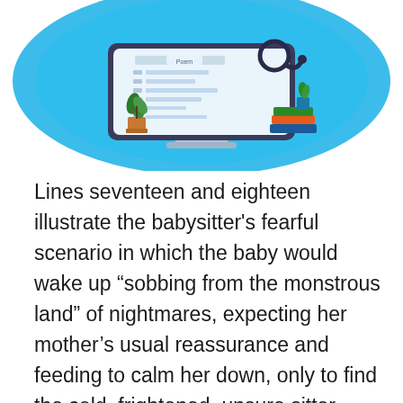[Figure (illustration): Illustration of a desktop computer monitor with a document/form on screen labeled 'Poem', a stethoscope, a potted plant on the left, books and a small plant on the right, on a blue circular background.]
Lines seventeen and eighteen illustrate the babysitter's fearful scenario in which the baby would wake up “sobbing from the monstrous land” of nightmares, expecting her mother's usual reassurance and feeding to calm her down, only to find the cold, frightened, unsure sitter. Lines nineteen and twenty conclude the poem and the account of the babysitter's situation. She feels that after the baby finds her, she will not only be disappointed but is guaranteed to find no